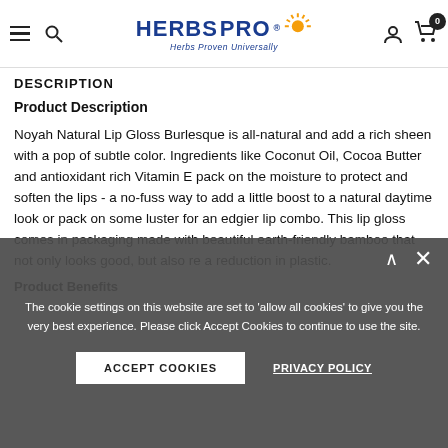HERBSPRO® — Herbs Proven Universally
DESCRIPTION
Product Description
Noyah Natural Lip Gloss Burlesque is all-natural and add a rich sheen with a pop of subtle color. Ingredients like Coconut Oil, Cocoa Butter and antioxidant rich Vitamin E pack on the moisture to protect and soften the lips - a no-fuss way to add a little boost to a natural daytime look or pack on some luster for an edgier lip combo. This lip gloss comes in packaging made with beautiful earth-friendly bamboo that not only looks good, but also re a reduction in plastic.
Product Benefits
The cookie settings on this website are set to 'allow all cookies' to give you the very best experience. Please click Accept Cookies to continue to use the site.